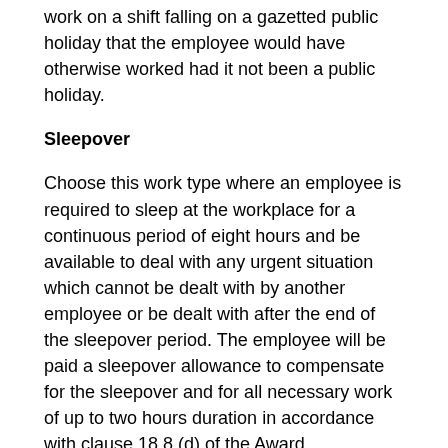work on a shift falling on a gazetted public holiday that the employee would have otherwise worked had it not been a public holiday.
Sleepover
Choose this work type where an employee is required to sleep at the workplace for a continuous period of eight hours and be available to deal with any urgent situation which cannot be dealt with by another employee or be dealt with after the end of the sleepover period. The employee will be paid a sleepover allowance to compensate for the sleepover and for all necessary work of up to two hours duration in accordance with clause 18.8 (d) of the Award
TIL of Overtime*
Choose this work type if the employee elects to accrue time in lieu rather than be paid overtime penalties for a shift in accordance with clause 26.4 of the Award